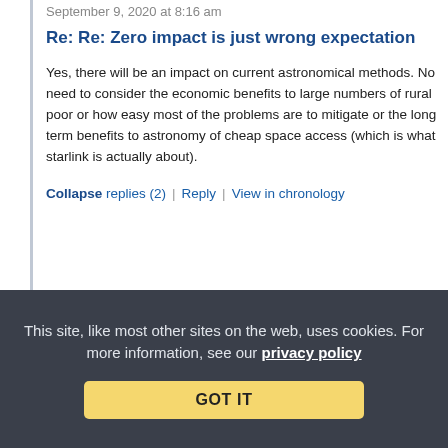September 9, 2020 at 8:16 am
Re: Re: Zero impact is just wrong expectation
Yes, there will be an impact on current astronomical methods. No need to consider the economic benefits to large numbers of rural poor or how easy most of the problems are to mitigate or the long term benefits to astronomy of cheap space access (which is what starlink is actually about).
Collapse replies (2) | Reply | View in chronology
[Figure (other): Row of five reaction/action icons: lightbulb, laughing face, left-quote bubble, right-quote bubble, flag]
This site, like most other sites on the web, uses cookies. For more information, see our privacy policy
GOT IT